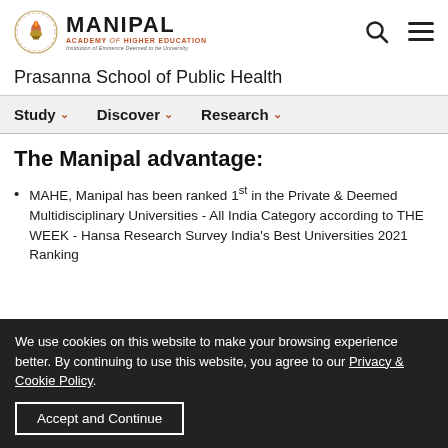[Figure (logo): Manipal Academy of Higher Education logo with emblem, MANIPAL text, subtitle ACADEMY of HIGHER EDUCATION, and tagline Institution of Eminence Deemed to be University]
Prasanna School of Public Health
Study  Discover  Research
The Manipal advantage:
MAHE, Manipal has been ranked 1st in the Private & Deemed Multidisciplinary Universities - All India Category according to THE WEEK - Hansa Research Survey India's Best Universities 2021 Ranking
We use cookies on this website to make your browsing experience better. By continuing to use this website, you agree to our Privacy & Cookie Policy.